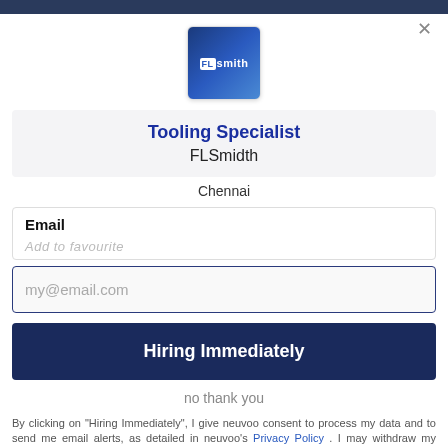[Figure (logo): FLSmidth company logo — blue gradient square with white FL badge and 'smith' text]
Tooling Specialist
FLSmidth
Chennai
Email
my@email.com
Hiring Immediately
no thank you
By clicking on "Hiring Immediately", I give neuvoo consent to process my data and to send me email alerts, as detailed in neuvoo's Privacy Policy . I may withdraw my consent or unsubscribe at any time.